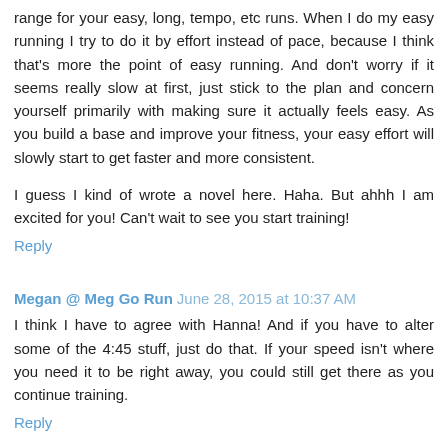range for your easy, long, tempo, etc runs. When I do my easy running I try to do it by effort instead of pace, because I think that's more the point of easy running. And don't worry if it seems really slow at first, just stick to the plan and concern yourself primarily with making sure it actually feels easy. As you build a base and improve your fitness, your easy effort will slowly start to get faster and more consistent.
I guess I kind of wrote a novel here. Haha. But ahhh I am excited for you! Can't wait to see you start training!
Reply
Megan @ Meg Go Run  June 28, 2015 at 10:37 AM
I think I have to agree with Hanna! And if you have to alter some of the 4:45 stuff, just do that. If your speed isn't where you need it to be right away, you could still get there as you continue training.
Reply